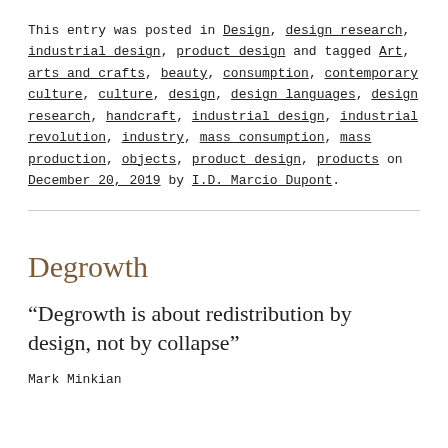This entry was posted in Design, design research, industrial design, product design and tagged Art, arts and crafts, beauty, consumption, contemporary culture, culture, design, design languages, design research, handcraft, industrial design, industrial revolution, industry, mass consumption, mass production, objects, product design, products on December 20, 2019 by I.D. Marcio Dupont.
Degrowth
“Degrowth is about redistribution by design, not by collapse”
Mark Minkian